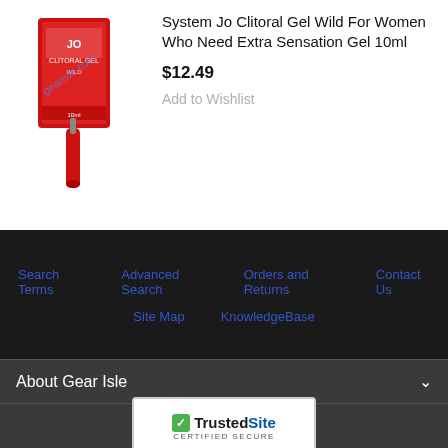System Jo Clitoral Gel Wild For Women Who Need Extra Sensation Gel 10ml
$12.49
Add to Wishlist
[Figure (photo): Product image of System Jo Clitoral Gel red box with watermark gearisle.com]
Search Terms  Advanced Search  Orders and Returns  Contact Us  Site Map  KnowledgeBase
About Gear Isle
Reasons to shop with us
[Figure (logo): TrustedSite CERTIFIED SECURE badge]